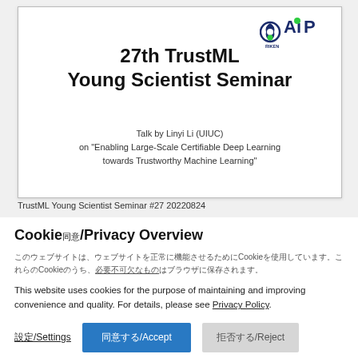[Figure (screenshot): Slide preview showing 27th TrustML Young Scientist Seminar with RIKEN AIP logo, talk title and speaker info]
TrustML Young Scientist Seminar #27 20220824
Cookie同意/Privacy Overview
このウェブサイトはCookieを使用しています。詳細については個人情報保護方針をご覧ください。
This website uses cookies for the purpose of maintaining and improving convenience and quality. For details, please see Privacy Policy.
設定/Settings
同意する/Accept
拒否する/Reject